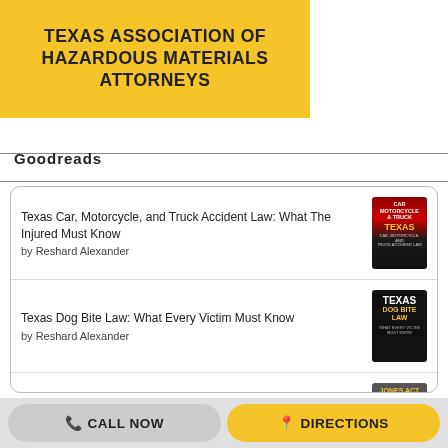[Figure (logo): Yellow banner with bold text: TEXAS ASSOCIATION OF HAZARDOUS MATERIALS ATTORNEYS]
Goodreads
Texas Car, Motorcycle, and Truck Accident Law: What The Injured Must Know by Reshard Alexander
Texas Dog Bite Law: What Every Victim Must Know by Reshard Alexander
Jones Act and Maritime Offshore Injury Law: What Every Worker Must Know